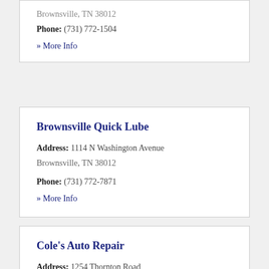Brownsville, TN 38012
Phone: (731) 772-1504
» More Info
Brownsville Quick Lube
Address: 1114 N Washington Avenue
Brownsville, TN 38012
Phone: (731) 772-7871
» More Info
Cole's Auto Repair
Address: 1254 Thornton Road
Brownsville, TN 38012
Phone: (731) 585-2001